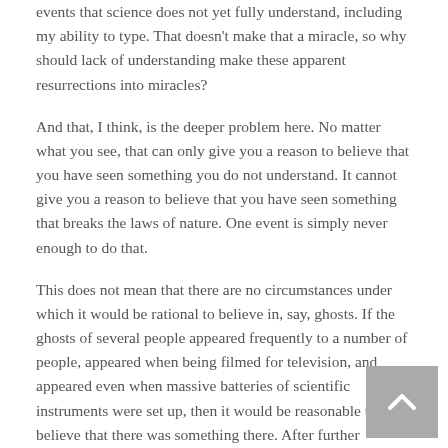events that science does not yet fully understand, including my ability to type. That doesn't make that a miracle, so why should lack of understanding make these apparent resurrections into miracles?
And that, I think, is the deeper problem here. No matter what you see, that can only give you a reason to believe that you have seen something you do not understand. It cannot give you a reason to believe that you have seen something that breaks the laws of nature. One event is simply never enough to do that.
This does not mean that there are no circumstances under which it would be rational to believe in, say, ghosts. If the ghosts of several people appeared frequently to a number of people, appeared when being filmed for television, and appeared even when massive batteries of scientific instruments were set up, then it would be reasonable to believe that there was something there. After further investigation, it could even become reasonable to believe that there was something there that could not be explained by current science. There are, in fact, numerous examples of such things. Radiation is one; when it was first detected, it seemed to be impossible, but it kept showing up, and